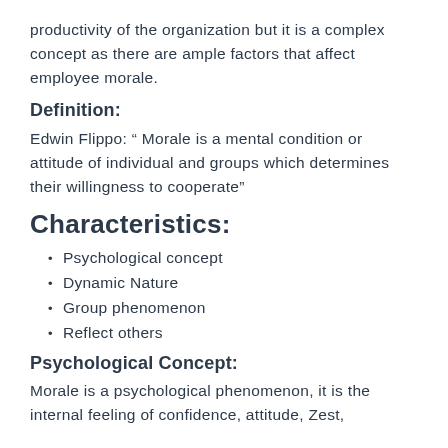productivity of the organization but it is a complex concept as there are ample factors that affect employee morale.
Definition:
Edwin Flippo: “ Morale is a mental condition or attitude of individual and groups which determines their willingness to cooperate”
Characteristics:
Psychological concept
Dynamic Nature
Group phenomenon
Reflect others
Psychological Concept:
Morale is a psychological phenomenon, it is the internal feeling of confidence, attitude, Zest,